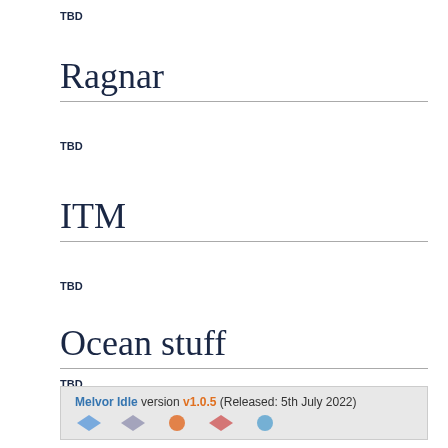TBD
Ragnar
TBD
ITM
TBD
Ocean stuff
TBD
Melvor Idle version v1.0.5 (Released: 5th July 2022)